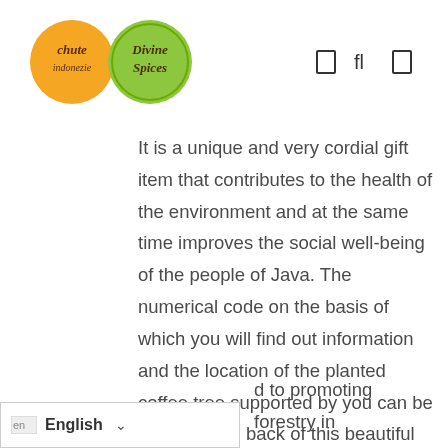[Figure (logo): Two circular logos side by side: an orange circle with 'chute indonezie' text and a green circle with 'Divine Spices' text]
It is a unique and very cordial gift item that contributes to the health of the environment and at the same time improves the social well-being of the people of Java. The numerical code on the basis of which you will find out information and the location of the planted coffee tree supported by you can be found on the back of this beautiful wooden gift item, which was made in Slovakia. We are d to promoting forestry in
en English ∨